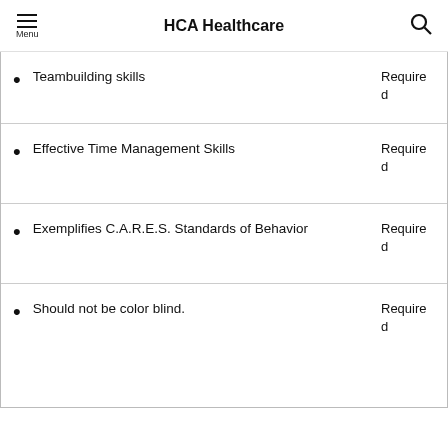HCA Healthcare
Teambuilding skills
Effective Time Management Skills
Exemplifies C.A.R.E.S. Standards of Behavior
Should not be color blind.